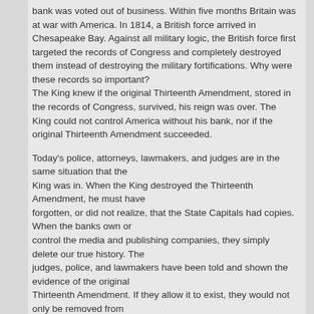bank was voted out of business. Within five months Britain was at war with America. In 1814, a British force arrived in Chesapeake Bay. Against all military logic, the British force first targeted the records of Congress and completely destroyed them instead of destroying the military fortifications. Why were these records so important? The King knew if the original Thirteenth Amendment, stored in the records of Congress, survived, his reign was over. The King could not control America without his bank, nor if the original Thirteenth Amendment succeeded.
Today's police, attorneys, lawmakers, and judges are in the same situation that the King was in. When the King destroyed the Thirteenth Amendment, he must have forgotten, or did not realize, that the State Capitals had copies. When the banks own or control the media and publishing companies, they simply delete our true history. The judges, police, and lawmakers have been told and shown the evidence of the original Thirteenth Amendment. If they allow it to exist, they would not only be removed from power, but how many people would want to try them for